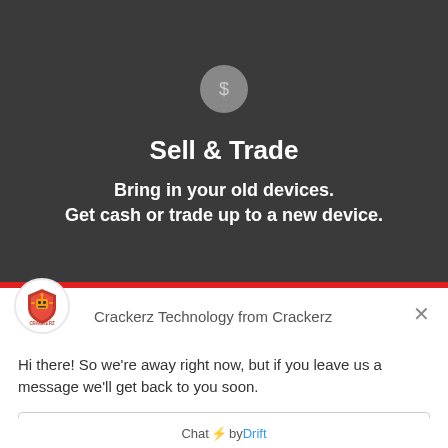[Figure (illustration): Dark background section with a dollar sign circle icon, bold 'Sell & Trade' title, and two subtitle lines about bringing in old devices for cash or trade.]
Sell & Trade
Bring in your old devices.
Get cash or trade up to a new device.
[Figure (logo): Crackerz Technology robot logo — red and yellow shield with robot figure, CRACKERZ text below]
Crackerz Technology from Crackerz
Hi there! So we're away right now, but if you leave us a message we'll get back to you soon.
Reply to Crackerz Technology
Chat ⚡ by Drift